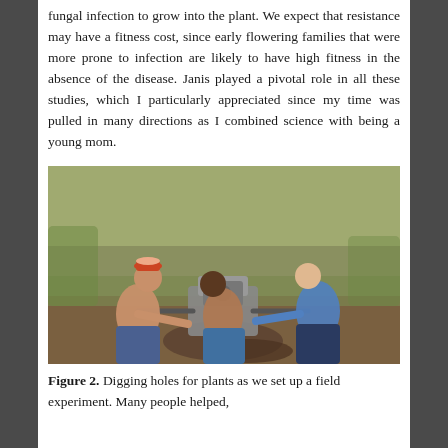fungal infection to grow into the plant. We expect that resistance may have a fitness cost, since early flowering families that were more prone to infection are likely to have high fitness in the absence of the disease. Janis played a pivotal role in all these studies, which I particularly appreciated since my time was pulled in many directions as I combined science with being a young mom.
[Figure (photo): Two or three people bending over a mechanical soil-drilling or hole-digging machine in a field, working to set up a field experiment.]
Figure 2. Digging holes for plants as we set up a field experiment. Many people helped,